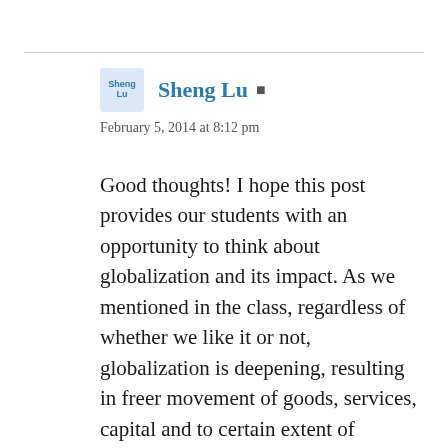Sheng Lu
February 5, 2014 at 8:12 pm
Good thoughts! I hope this post provides our students with an opportunity to think about globalization and its impact. As we mentioned in the class, regardless of whether we like it or not, globalization is deepening, resulting in freer movement of goods, services, capital and to certain extent of people. This is particularly the case in our textile and apparel industry, in which companies nowadays “produce globally and sell globally”. it is critical that our students